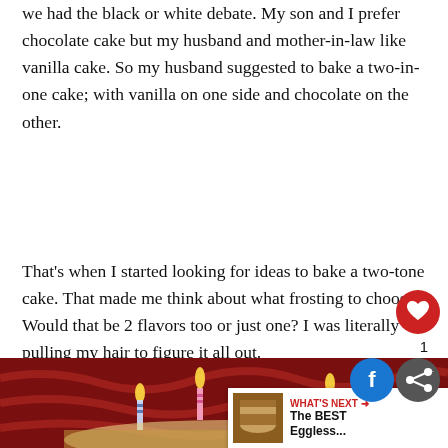we had the black or white debate. My son and I prefer chocolate cake but my husband and mother-in-law like vanilla cake. So my husband suggested to bake a two-in-one cake; with vanilla on one side and chocolate on the other.
That's when I started looking for ideas to bake a two-tone cake. That made me think about what frosting to choose. Would that be 2 flavors too or just one? I was literally pulling my hair to figure it all out.
[Figure (photo): Birthday cake with lit candles on a red patterned tablecloth, partially visible at the bottom of the page. Social media buttons (heart, Facebook, share) and a 'What's Next' callout overlay the image.]